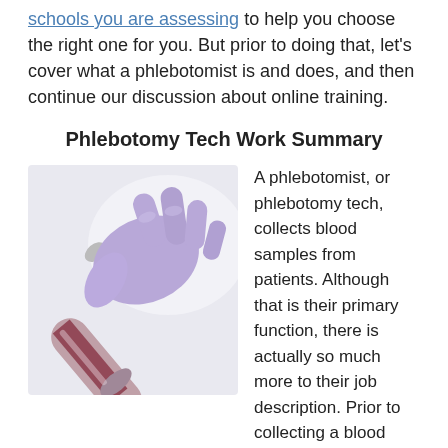schools you are assessing to help you choose the right one for you. But prior to doing that, let’s cover what a phlebotomist is and does, and then continue our discussion about online training.
Phlebotomy Tech Work Summary
[Figure (photo): A gloved hand in purple/blue latex glove holding a blood collection tube (vacutainer) with dark red blood sample inside, against a light background.]
A phlebotomist, or phlebotomy tech, collects blood samples from patients. Although that is their primary function, there is actually so much more to their job description. Prior to collecting a blood sample, a phlebotomist needs to check that the tools being used are single use and sterile. After